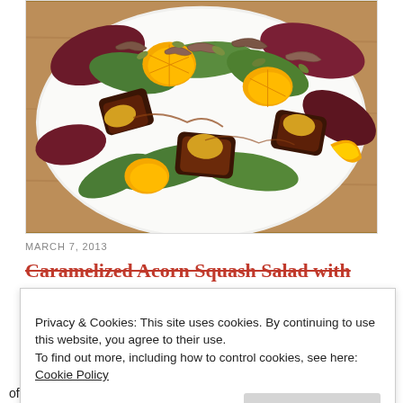[Figure (photo): Overhead photo of a salad on a white plate with caramelized acorn squash, orange segments, mixed greens, caramelized shallots, and pumpkin seeds on a wooden table background.]
MARCH 7, 2013
Caramelized Acorn Squash Salad with
Privacy & Cookies: This site uses cookies. By continuing to use this website, you agree to their use.
To find out more, including how to control cookies, see here: Cookie Policy
Close and accept
of mixed greens. In fact it was at Stonewall Kitchen cooking class